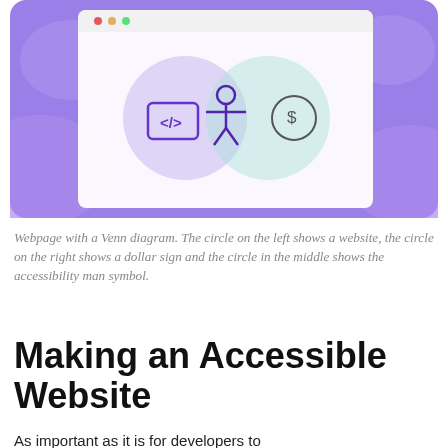[Figure (infographic): Illustration of a webpage with a Venn diagram on a purple background. The left circle contains a code/website icon (angle brackets), the right circle contains a dollar sign, and the overlapping middle circle contains an accessibility man symbol (person with arms outstretched).]
Webpage with a Venn diagram. The circle on the left shows a website, the circle on the right shows a dollar sign and the circle in the middle shows the accessibility man symbol.
Making an Accessible Website
As important as it is for developers to